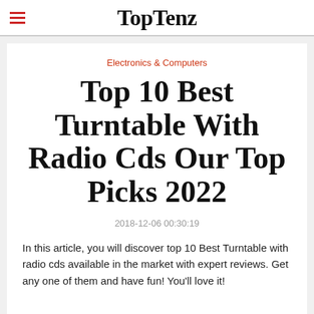TopTenz
Electronics & Computers
Top 10 Best Turntable With Radio Cds Our Top Picks 2022
2018-12-06 00:30:19
In this article, you will discover top 10 Best Turntable with radio cds available in the market with expert reviews. Get any one of them and have fun! You'll love it!